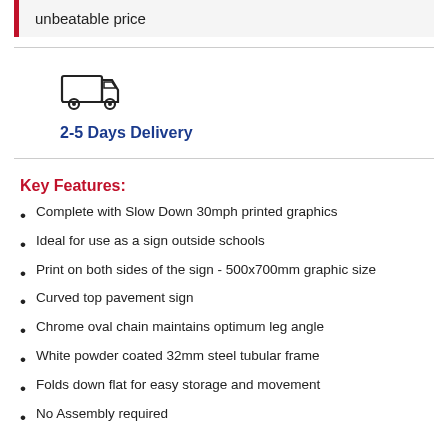unbeatable price
[Figure (illustration): Delivery truck icon]
2-5 Days Delivery
Key Features:
Complete with Slow Down 30mph printed graphics
Ideal for use as a sign outside schools
Print on both sides of the sign - 500x700mm graphic size
Curved top pavement sign
Chrome oval chain maintains optimum leg angle
White powder coated 32mm steel tubular frame
Folds down flat for easy storage and movement
No Assembly required